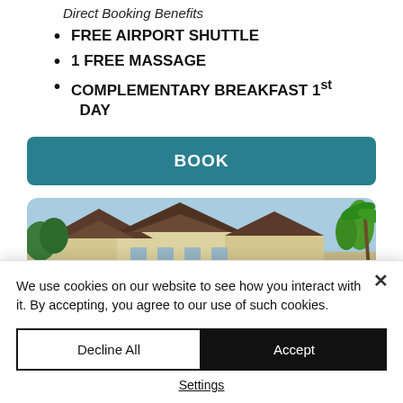Direct Booking Benefits
FREE AIRPORT SHUTTLE
1 FREE MASSAGE
COMPLEMENTARY BREAKFAST 1st DAY
BOOK
[Figure (photo): Exterior view of a tropical resort or hotel building with dark tile roofs, surrounded by green trees and vegetation, under a clear blue sky.]
We use cookies on our website to see how you interact with it. By accepting, you agree to our use of such cookies.
Decline All
Accept
Settings